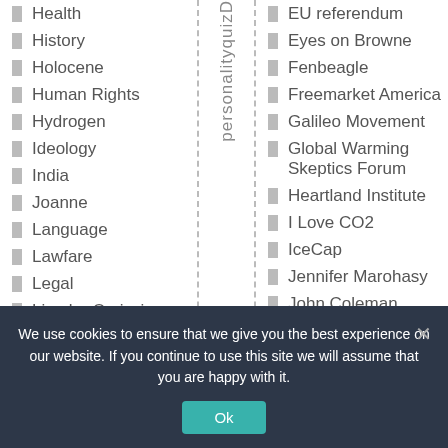Health
History
Holocene
Human Rights
Hydrogen
Ideology
India
Joanne
Language
Lawfare
Legal
Lies-by-Omission
Logic & Reason
Marine
Marine Life
EU referendum
Eyes on Browne
Fenbeagle
Freemarket America
Galileo Movement
Global Warming Skeptics Forum
Heartland Institute
I Love CO2
IceCap
Jennifer Marohasy
John Coleman
Judith Curry
Kens Kingdom
Lavoisier Group
personalityquizD
We use cookies to ensure that we give you the best experience on our website. If you continue to use this site we will assume that you are happy with it.